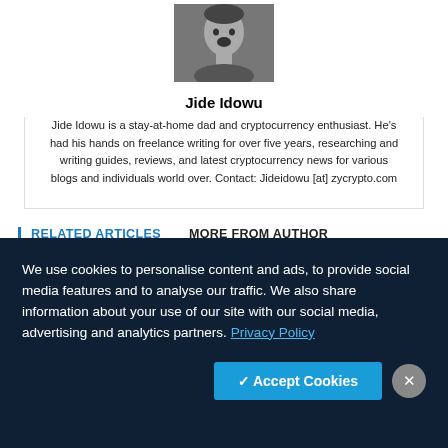[Figure (photo): Black and white photo of Jide Idowu]
Jide Idowu
Jide Idowu is a stay-at-home dad and cryptocurrency enthusiast. He's had his hands on freelance writing for over five years, researching and writing guides, reviews, and latest cryptocurrency news for various blogs and individuals world over. Contact: Jideidowu [at] zycrypto.com
RELATED ARTICLES   MORE FROM AUTHOR
We use cookies to personalise content and ads, to provide social media features and to analyse our traffic. We also share information about your use of our site with our social media, advertising and analytics partners. Privacy Policy